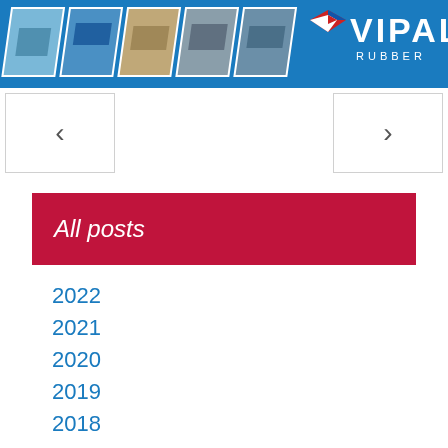[Figure (logo): Vipal Rubber header banner with product images and logo]
< >
All posts
2022
2021
2020
2019
2018
2017
2016